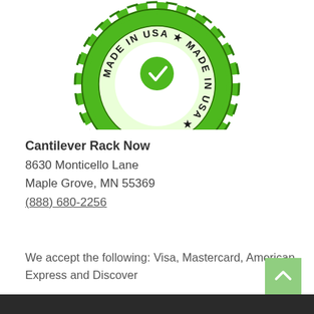[Figure (logo): Made in USA green badge/seal with green gear-like border, white center with a green checkmark/heart icon, text reading MADE IN USA around the inner ring]
Cantilever Rack Now
8630 Monticello Lane
Maple Grove, MN  55369
(888) 680-2256
We accept the following: Visa, Mastercard, American Express and Discover